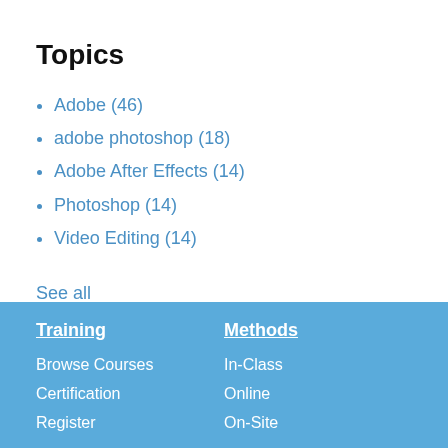Topics
Adobe (46)
adobe photoshop (18)
Adobe After Effects (14)
Photoshop (14)
Video Editing (14)
See all
Training | Browse Courses | Certification | Register | Methods | In-Class | Online | On-Site